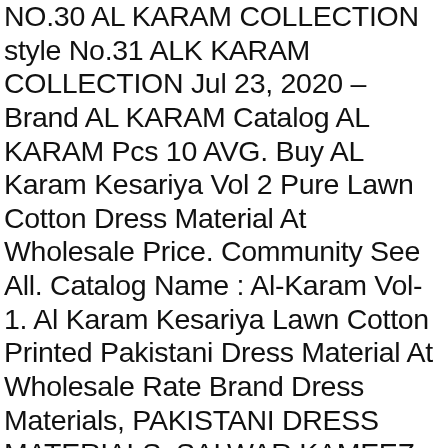NO.30 AL KARAM COLLECTION style No.31 ALK KARAM COLLECTION Jul 23, 2020 – Brand AL KARAM Catalog AL KARAM Pcs 10 AVG. Buy AL Karam Kesariya Vol 2 Pure Lawn Cotton Dress Material At Wholesale Price. Community See All. Catalog Name : Al-Karam Vol-1. Al Karam Kesariya Lawn Cotton Printed Pakistani Dress Material At Wholesale Rate Brand Dress Materials, PAKISTANI DRESS MATERIALS, SALWAR KAMEEZ Catalog Al Karam Kesariya Pcs 10 AVG. ✓Thank youThanks for sharing your contact infoWe will get back shortly. AL KARAM KESARIYA LAWN COLLECTION KARACHI COTTON WHOLESALE RATE ONLINE. Price 350 Full Price 3500 Size Unstitched Fabric LAWN COTTON Other Details Top : Pure Lawn (cut:2.25 mtr) Bottom : pure lawn (cut:2 mtr) Dupatta: Pure Cotton Mal Mal (cut 2.25 mtr) .. Cambric. Pay Now: My Account. Inclusive GST & Shipping Thank you !Your enquiry has been sent successfully. AL KARAM 1: AWN COl l FCTION AL KARAM LAWN style No. Ltd. founded in 1986 as a vertically